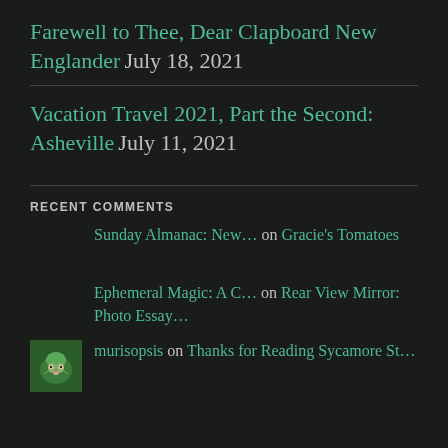Farewell to Thee, Dear Clapboard New Englander July 18, 2021
Vacation Travel 2021, Part the Second: Asheville July 11, 2021
RECENT COMMENTS
Sunday Almanac: New… on Gracie's Tomatoes
Ephemeral Magic: A C… on Rear View Mirror: Photo Essay…
murisopsis on Thanks for Reading Sycamore St…